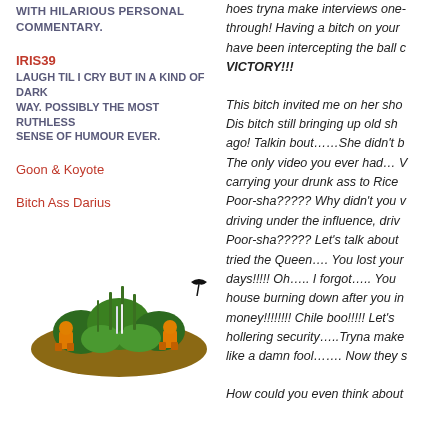WITH HILARIOUS PERSONAL COMMENTARY.
IRIS39
LAUGH TIL I CRY BUT IN A KIND OF DARK WAY. POSSIBLY THE MOST RUTHLESS SENSE OF HUMOUR EVER.
Goon & Koyote
Bitch Ass Darius
[Figure (illustration): Pixel art illustration of a grassy mound or bush scene with green vegetation and orange/yellow creatures or characters.]
hoes tryna make interviews one-through! Having a bitch on your have been intercepting the ball c VICTORY!!! This bitch invited me on her sho Dis bitch still bringing up old sh ago! Talkin bout……She didn't b The only video you ever had… V carrying your drunk ass to Rice Poor-sha????? Why didn't you driving under the influence, driv Poor-sha????? Let's talk about tried the Queen…. You lost your days!!!!! Oh….. I forgot….. You house burning down after you in money!!!!!!!! Chile boo!!!!! Let's hollering security…..Tryna make like a damn fool……. Now they s How could you even think about